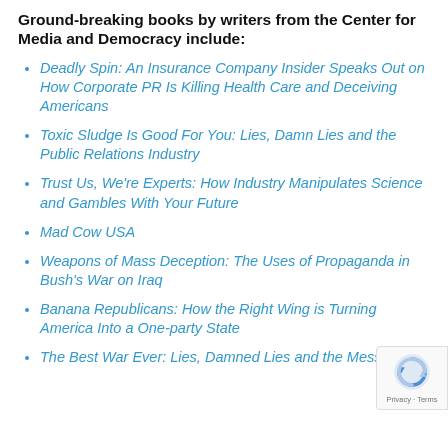Ground-breaking books by writers from the Center for Media and Democracy include:
Deadly Spin: An Insurance Company Insider Speaks Out on How Corporate PR Is Killing Health Care and Deceiving Americans
Toxic Sludge Is Good For You: Lies, Damn Lies and the Public Relations Industry
Trust Us, We're Experts: How Industry Manipulates Science and Gambles With Your Future
Mad Cow USA
Weapons of Mass Deception: The Uses of Propaganda in Bush's War on Iraq
Banana Republicans: How the Right Wing is Turning America Into a One-party State
The Best War Ever: Lies, Damned Lies and the Mess in Iraq